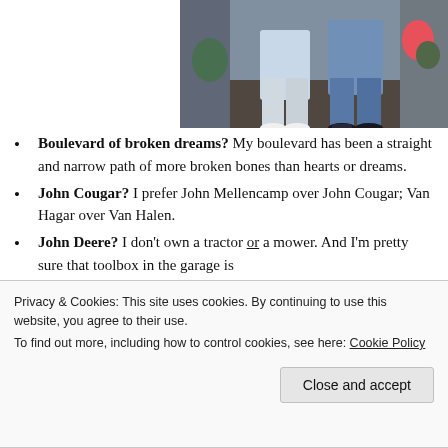[Figure (photo): Photograph of two people standing together, showing their lower bodies; one wearing white shoes and light jeans, the other wearing dark shoes and blue jeans. Background appears to be a porch or entrance area with plants.]
Boulevard of broken dreams? My boulevard has been a straight and narrow path of more broken bones than hearts or dreams.
John Cougar? I prefer John Mellencamp over John Cougar; Van Hagar over Van Halen.
John Deere? I don't own a tractor or a mower. And I'm pretty sure that toolbox in the garage is
Privacy & Cookies: This site uses cookies. By continuing to use this website, you agree to their use.
To find out more, including how to control cookies, see here: Cookie Policy
Close and accept